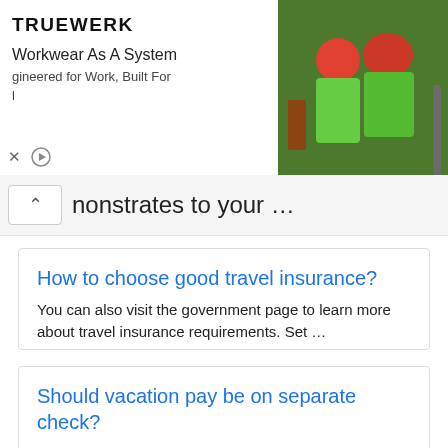[Figure (screenshot): TRUEWERK advertisement banner with logo, tagline 'Workkwear As A System', subtitle 'Engineered for Work, Built For' and photo of two workers in green gear]
nonstrates to your …
How to choose good travel insurance?
You can also visit the government page to learn more about travel insurance requirements. Set …
Should vacation pay be on separate check?
( California DLSE: Vacation FAQs).... " Wages " and "compensation" include vacation pay that …